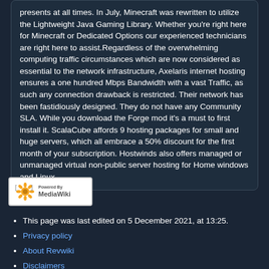presents at all times. In July, Minecraft was rewritten to utilize the Lightweight Java Gaming Library. Whether you're right here for Minecraft or Dedicated Options our experienced technicians are right here to assist.Regardless of the overwhelming computing traffic circumstances which are now considered as essential to the network infrastructure, Axelaris internet hosting ensures a one hundred Mbps Bandwidth with a vast Traffic, as such any connection drawback is restricted. Their network has been fastidiously designed. They do not have any Community SLA. While you download the Forge mod it's a must to first install it. ScalaCube affords 9 hosting packages for small and huge servers, which all embrace a 50% discount for the first month of your subscription. Hostwinds also offers managed or unmanaged virtual non-public server hosting for Home windows and Linux.
[Figure (logo): Powered by MediaWiki logo badge]
This page was last edited on 5 December 2021, at 13:25.
Privacy policy
About Revwiki
Disclaimers